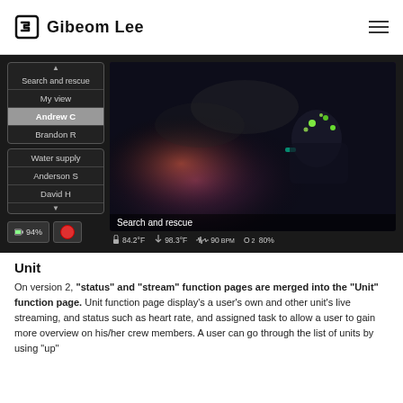Gibeom Lee
[Figure (screenshot): UI screenshot showing a dark-themed firefighter monitoring app. Left panel has two menu boxes: first with 'Search and rescue' (top), 'My view', 'Andrew C' (selected/highlighted), 'Brandon R'; second with 'Water supply', 'Anderson S', 'David H'. Bottom left shows battery 94% and red record button. Right panel shows a live camera feed of a firefighter in smoke with overlay text 'Search and rescue' and status bar showing: 84.2°F, 98.3°F, 90 BPM, O2 80%.]
Unit
On version 2, "status" and "stream" function pages are merged into the "Unit" function page. Unit function page display's a user's own and other unit's live streaming, and status such as heart rate, and assigned task to allow a user to gain more overview on his/her crew members. A user can go through the list of units by using "up"